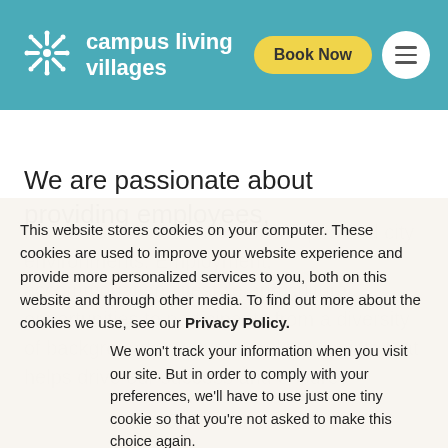[Figure (logo): Campus Living Villages logo with snowflake/star icon on teal header background with Book Now button and hamburger menu]
We are passionate about providing employees,
This website stores cookies on your computer. These cookies are used to improve your website experience and provide more personalized services to you, both on this website and through other media. To find out more about the cookies we use, see our Privacy Policy.
We won't track your information when you visit our site. But in order to comply with your preferences, we'll have to use just one tiny cookie so that you're not asked to make this choice again.
Manage Cookie Settings
Accept